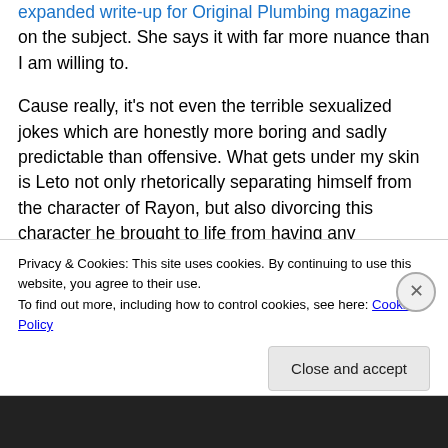expanded write-up for Original Plumbing magazine on the subject. She says it with far more nuance than I am willing to.
Cause really, it's not even the terrible sexualized jokes which are honestly more boring and sadly predictable than offensive. What gets under my skin is Leto not only rhetorically separating himself from the character of Rayon, but also divorcing this character he brought to life from having any sypmathetic reality or social consequence. Referring to her as a "creature" and an "
Privacy & Cookies: This site uses cookies. By continuing to use this website, you agree to their use.
To find out more, including how to control cookies, see here: Cookie Policy
Close and accept